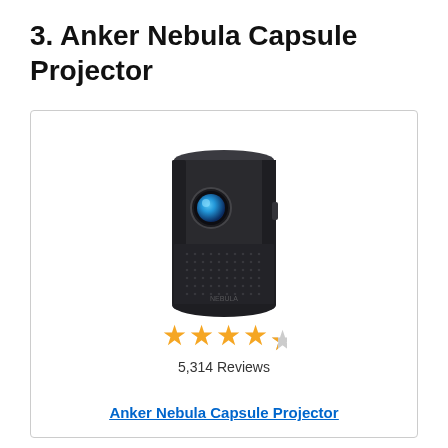3. Anker Nebula Capsule Projector
[Figure (photo): Anker Nebula Capsule smart mini projector — a small cylindrical black device with a blue lens on the front and speaker grille on the lower body]
★★★★★ (4.5 stars) 5,314 Reviews
Anker Nebula Capsule Projector